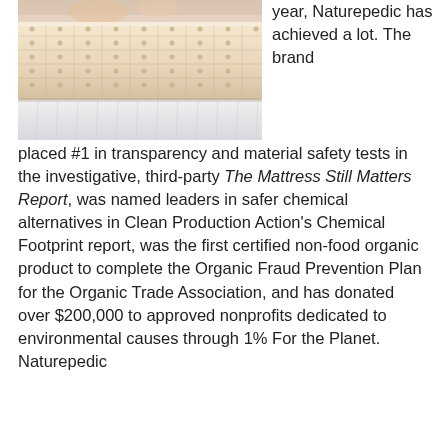[Figure (photo): Close-up photo of a quilted cream/beige organic mattress edge with white bed skirt, child visible at top]
year, Naturepedic has achieved a lot. The brand placed #1 in transparency and material safety tests in the investigative, third-party The Mattress Still Matters Report, was named leaders in safer chemical alternatives in Clean Production Action's Chemical Footprint report, was the first certified non-food organic product to complete the Organic Fraud Prevention Plan for the Organic Trade Association, and has donated over $200,000 to approved nonprofits dedicated to environmental causes through 1% For the Planet. Naturepedic